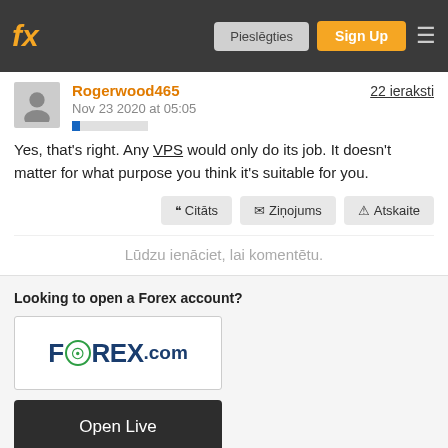fx | Pieslēgties | Sign Up
Rogerwood465 — Nov 23 2020 at 05:05 — 22 ieraksti
Yes, that's right. Any VPS would only do its job. It doesn't matter for what purpose you think it's suitable for you.
Citāts | Ziņojums | Atskaite
Lūdzu ienāciet, lai komentētu.
Looking to open a Forex account?
[Figure (logo): FOREX.com logo in a white bordered box]
Open Live